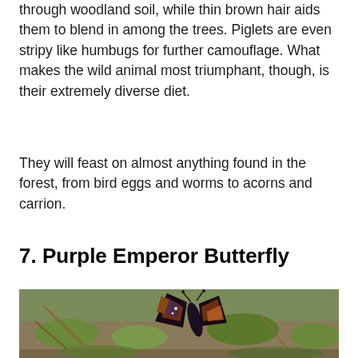through woodland soil, while thin brown hair aids them to blend in among the trees. Piglets are even stripy like humbugs for further camouflage. What makes the wild animal most triumphant, though, is their extremely diverse diet.
They will feast on almost anything found in the forest, from bird eggs and worms to acorns and carrion.
7. Purple Emperor Butterfly
[Figure (photo): Close-up photograph of a Purple Emperor Butterfly resting on the ground among grass and leaves, showing its dark wings with orange and purple markings and white spots.]